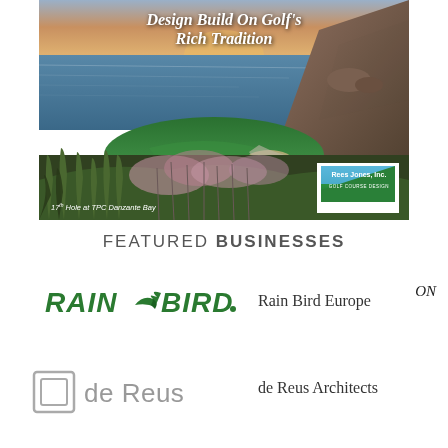[Figure (photo): Aerial photo of 17th Hole at TPC Danzante Bay golf course, showing green fairway, ocean, rocky cliffs, and pink flowering grasses with golden sunset sky. Text overlay reads 'Design Build On Golf's Rich Tradition'. Rees Jones, Inc. Golf Course Design logo in lower right.]
FEATURED BUSINESSES
[Figure (logo): Rain Bird logo - green italic text with bird icon]
Rain Bird Europe ON
[Figure (logo): de Reus Architects logo - square nested frames icon with 'de Reus' text in gray]
de Reus Architects